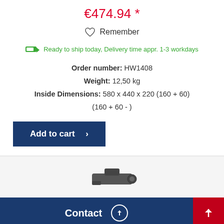€474.94 *
♡ Remember
Ready to ship today, Delivery time appr. 1-3 workdays
Order number: HW1408
Weight: 12,50 kg
Inside Dimensions: 580 x 440 x 220 (160 + 60) (160 + 60 - )
Add to cart ›
[Figure (photo): Product image partially visible at bottom]
Contact